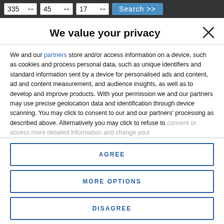335 ++ 45 ++ 17 ++ Search >>
We value your privacy
We and our partners store and/or access information on a device, such as cookies and process personal data, such as unique identifiers and standard information sent by a device for personalised ads and content, ad and content measurement, and audience insights, as well as to develop and improve products. With your permission we and our partners may use precise geolocation data and identification through device scanning. You may click to consent to our and our partners' processing as described above. Alternatively you may click to refuse to consent or access more detailed information and change your
AGREE
MORE OPTIONS
DISAGREE